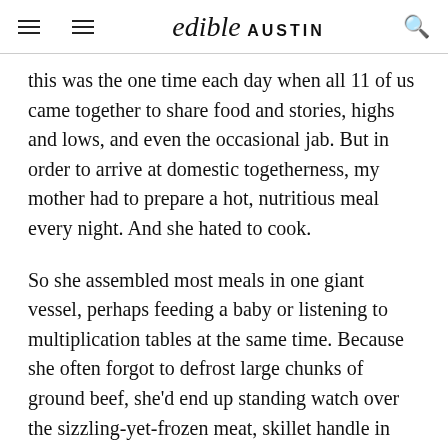edible AUSTIN
this was the one time each day when all 11 of us came together to share food and stories, highs and lows, and even the occasional jab. But in order to arrive at domestic togetherness, my mother had to prepare a hot, nutritious meal every night. And she hated to cook.
So she assembled most meals in one giant vessel, perhaps feeding a baby or listening to multiplication tables at the same time. Because she often forgot to defrost large chunks of ground beef, she'd end up standing watch over the sizzling-yet-frozen meat, skillet handle in one hand, fork in another, flipping and scraping the iron round. There even't much